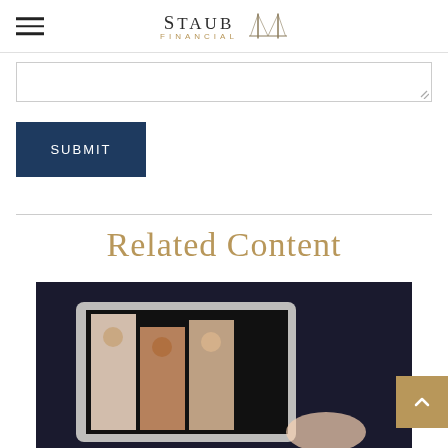Staub Financial
[Figure (screenshot): Empty text area input field with resize handle in bottom-right corner]
[Figure (other): SUBMIT button with dark navy blue background and white text]
Related Content
[Figure (photo): Person holding a tablet showing a video call interface with illustrated people on screen, dark background]